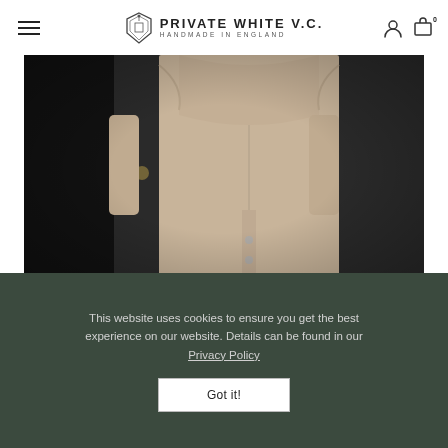PRIVATE WHITE V.C. HANDMADE IN ENGLAND
[Figure (photo): Person wearing a beige/tan mac coat, photographed from behind against a dark door, highlighting the back detail and construction of the garment.]
NIGEL CLEAVER'S MAC STYLING
This website uses cookies to ensure you get the best experience on our website. Details can be found in our Privacy Policy
Got it!